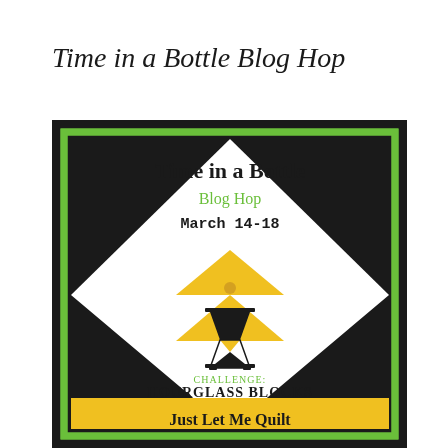Time in a Bottle Blog Hop
[Figure (illustration): Blog hop promotional graphic with black background and green border. A quilt hourglass block pattern in black, white, and yellow triangles. Text reads: 'Time in a Bottle Blog Hop March 14-18' with an hourglass icon, 'CHALLENGE: HOURGLASS BLOCKS', 'Just Let Me Quilt']